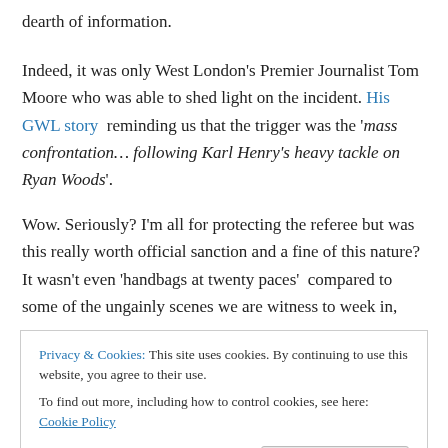dearth of information.
Indeed, it was only West London's Premier Journalist Tom Moore who was able to shed light on the incident. His GWL story reminding us that the trigger was the 'mass confrontation… following Karl Henry's heavy tackle on Ryan Woods'.
Wow. Seriously? I'm all for protecting the referee but was this really worth official sanction and a fine of this nature? It wasn't even 'handbags at twenty paces'  compared to some of the ungainly scenes we are witness to week in,
Privacy & Cookies: This site uses cookies. By continuing to use this website, you agree to their use.
To find out more, including how to control cookies, see here: Cookie Policy
Moreso, given the lack of protection previously afforded to